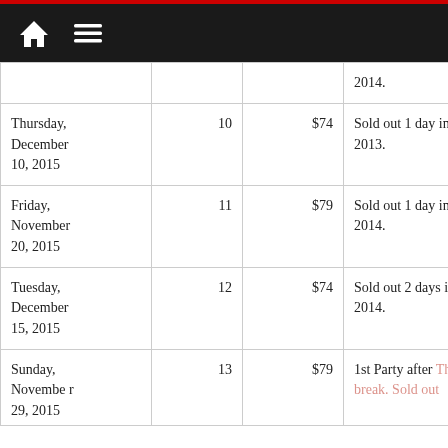Home Menu
| Date | # | Price | Notes |
| --- | --- | --- | --- |
|  |  |  | 2014. |
| Thursday, December 10, 2015 | 10 | $74 | Sold out 1 day in advance in 2013. |
| Friday, November 20, 2015 | 11 | $79 | Sold out 1 day in advance in 2014. |
| Tuesday, December 15, 2015 | 12 | $74 | Sold out 2 days in advance in 2014. |
| Sunday, November 29, 2015 | 13 | $79 | 1st Party after Thanksgiving break. Sold out... |